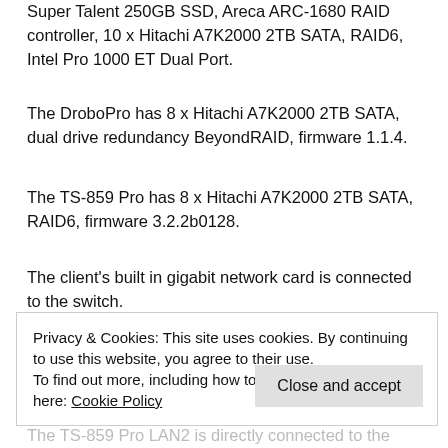Super Talent 250GB SSD, Areca ARC-1680 RAID controller, 10 x Hitachi A7K2000 2TB SATA, RAID6, Intel Pro 1000 ET Dual Port.
The DroboPro has 8 x Hitachi A7K2000 2TB SATA, dual drive redundancy BeyondRAID, firmware 1.1.4.
The TS-859 Pro has 8 x Hitachi A7K2000 2TB SATA, RAID6, firmware 3.2.2b0128.
The client's built in gigabit network card is connected to the switch.
Privacy & Cookies: This site uses cookies. By continuing to use this website, you agree to their use.
To find out more, including how to control cookies, see here: Cookie Policy
Close and accept
The TS-859 Pro LAN2 is directly connected to the client